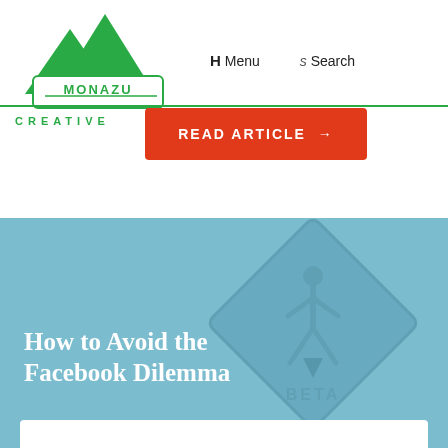[Figure (logo): Monazu Creative logo — green mountain triangles above a badge with MONAZU text]
H Menu   s Search
CREATIVE
READ ARTICLE →
[Figure (illustration): Blue background article card with a faded diamond-shaped warning sign showing a pedestrian figure and the word BETA]
How to Avoid the Facebook Dilemma